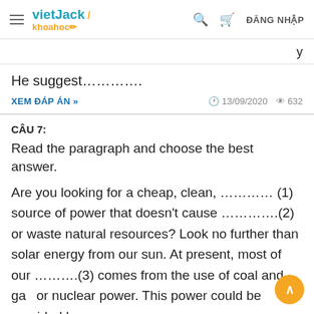vietJack khoahoc | ĐĂNG NHẬP
He suggest...............
XEM ĐÁP ÁN »   13/09/2020   632
CÂU 7:
Read the paragraph and choose the best answer.
Are you looking for a cheap, clean, ............. (1) source of power that doesn't cause .............(2) or waste natural resources? Look no further than solar energy from our sun. At present, most of our .........(3) comes from the use of coal and ga or nuclear power. This power could be provided by